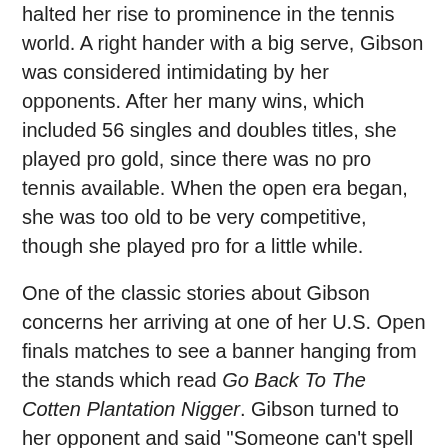halted her rise to prominence in the tennis world. A right hander with a big serve, Gibson was considered intimidating by her opponents. After her many wins, which included 56 singles and doubles titles, she played pro gold, since there was no pro tennis available. When the open era began, she was too old to be very competitive, though she played pro for a little while.
One of the classic stories about Gibson concerns her arriving at one of her U.S. Open finals matches to see a banner hanging from the stands which read Go Back To The Cotten Plantation Nigger. Gibson turned to her opponent and said "Someone can't spell 'cotton'." (Reminds you of a recent sign, doesn't it?) When she won the Wimbledon doubles title with Englishwoman Angela Buxton in 1956, the crowd barely responded, not just because Gibson was a person of color, but because Buxton was Jewish. The two became lifelong friends.
Gibson was not vocal about race issues, and did not participate in the Civil Rights movement of the 60s. She mostly stayed head-down and concentrated on being a champion, believing that achieving high status as a